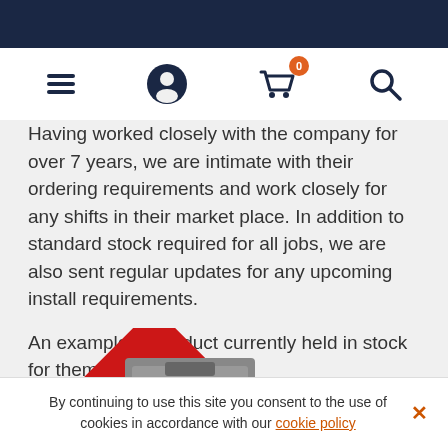Navigation bar with menu, user, cart (0 items), and search icons
Having worked closely with the company for over 7 years, we are intimate with their ordering requirements and work closely for any shifts in their market place. In addition to standard stock required for all jobs, we are also sent regular updates for any upcoming install requirements.
An example of product currently held in stock for them includes:
[Figure (photo): ABB contactor/electrical switching device on a red diamond-shaped background]
By continuing to use this site you consent to the use of cookies in accordance with our cookie policy